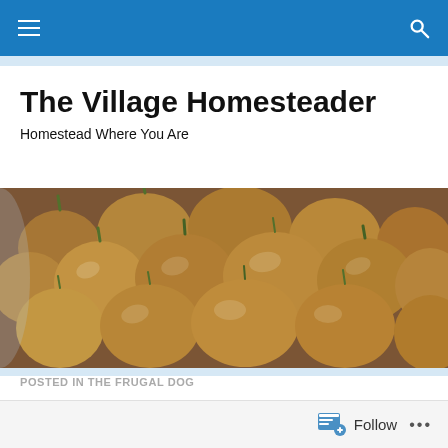Navigation bar with hamburger menu and search icon
The Village Homesteader
Homestead Where You Are
[Figure (photo): A basket filled with large brown onions or shallots, photographed from above, spanning full width.]
POSTED IN THE FRUGAL DOG
[Figure (photo): Partial view of a blog post thumbnail image showing wooden furniture and household items.]
Follow  ...